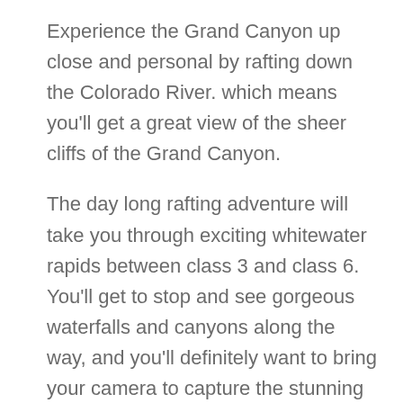Experience the Grand Canyon up close and personal by rafting down the Colorado River. which means you'll get a great view of the sheer cliffs of the Grand Canyon.
The day long rafting adventure will take you through exciting whitewater rapids between class 3 and class 6. You'll get to stop and see gorgeous waterfalls and canyons along the way, and you'll definitely want to bring your camera to capture the stunning views and all the fun on the river.